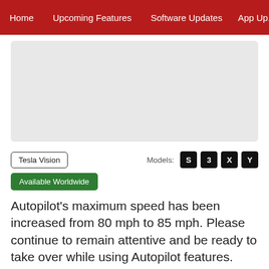Home | Upcoming Features | Software Updates | App Up...
[Figure (other): Gray placeholder image area]
Tesla Vision
Models: S 3 X Y
Available Worldwide
Autopilot's maximum speed has been increased from 80 mph to 85 mph. Please continue to remain attentive and be ready to take over while using Autopilot features.
Automatic Supercharger
Rerouting